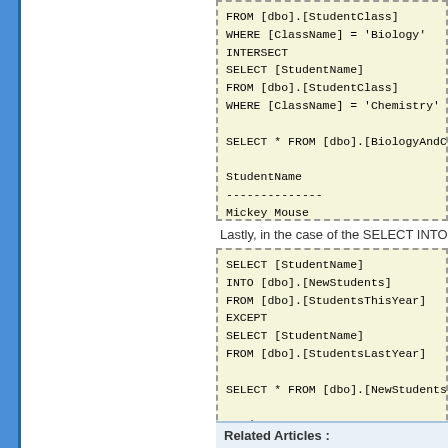[Figure (screenshot): Code block showing SQL INTERSECT query with WHERE ClassName = 'Biology' and WHERE ClassName = 'Chemistry', followed by SELECT * FROM [dbo].[BiologyAndChe...], and result showing StudentName column with value Mickey Mouse]
Lastly, in the case of the SELECT INTO comma...
[Figure (screenshot): Code block showing SQL SELECT [StudentName] INTO [dbo].[NewStudents] FROM [dbo].[StudentsThisYear] EXCEPT SELECT [StudentName] FROM [dbo].[StudentsLastYear], SELECT * FROM [dbo].[NewStudents], result showing StudentName column with Donald Duck and Pluto]
Related Articles :